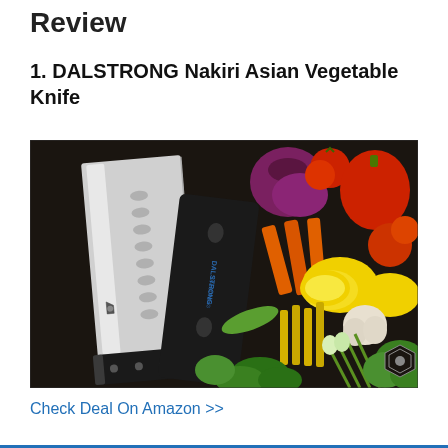Review
1. DALSTRONG Nakiri Asian Vegetable Knife
[Figure (photo): A DALSTRONG Nakiri Asian Vegetable Knife with black sheath, displayed beside an assortment of fresh vegetables including red onion, tomatoes, red pepper, carrots, lemon, asparagus, garlic, green onions, lettuce, and herbs on a dark wooden surface. The DALSTRONG logo shield is visible on the blade and in the lower right corner of the image.]
Check Deal On Amazon >>